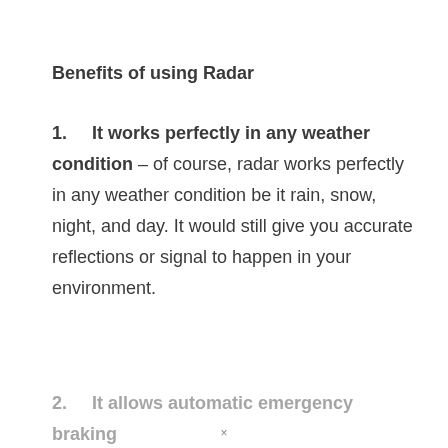Benefits of using Radar
1.    It works perfectly in any weather condition – of course, radar works perfectly in any weather condition be it rain, snow, night, and day. It would still give you accurate reflections or signal to happen in your environment.
2.    It allows automatic emergency braking...